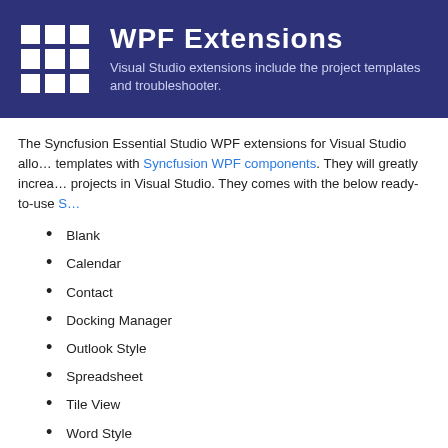[Figure (infographic): Dark blue header banner with Windows-style logo grid and title 'WPF Extensions' with subtitle about Visual Studio extensions including project templates and troubleshooter.]
The Syncfusion Essential Studio WPF extensions for Visual Studio allow you to create projects/project items using templates with Syncfusion WPF components. They will greatly increase your productivity when creating WPF projects in Visual Studio. They comes with the below ready-to-use Syncfusion WPF templates:
Blank
Calendar
Contact
Docking Manager
Outlook Style
Spreadsheet
Tile View
Word Style
Furthermore, the Syncfusion WPF Visual Studio extensions include a set of window templates (Blank Window and Ribbon Window) that helps you add windows to customize the applications and help comes built-in in themes to present an appealing user interface. And a reference manager that adds the required assemblies and NuGet packages for the components you select. The